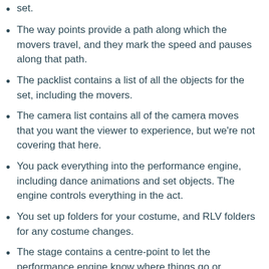set.
The way points provide a path along which the movers travel, and they mark the speed and pauses along that path.
The packlist contains a list of all the objects for the set, including the movers.
The camera list contains all of the camera moves that you want the viewer to experience, but we're not covering that here.
You pack everything into the performance engine, including dance animations and set objects. The engine controls everything in the act.
You set up folders for your costume, and RLV folders for any costume changes.
The stage contains a centre-point to let the performance engine know where things go or happen.